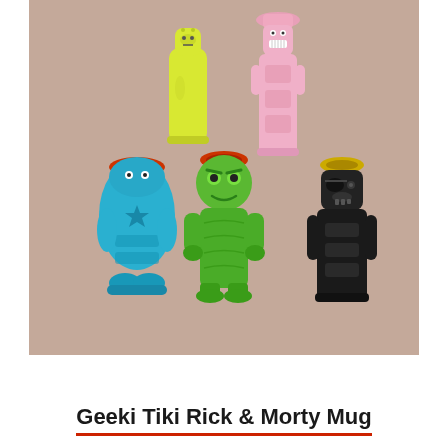[Figure (photo): Five ceramic Geeki Tiki mugs styled as Rick and Morty characters. Top row: a yellow tiki mug (Morty) and a pink tiki mug (Mr. Meeseeks). Bottom row: a blue tiki mug, a green tiki mug (Krombopulos Michael), and a black tiki mug. All mugs are character-shaped with tiki-style carved detailing, on a mauve/taupe background.]
Geeki Tiki Rick & Morty Mug